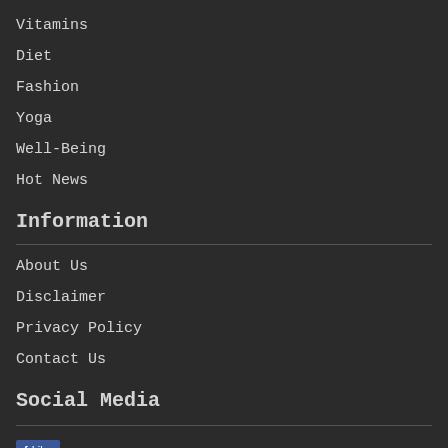Vitamins
Diet
Fashion
Yoga
Well-Being
Hot News
Information
About Us
Disclaimer
Privacy Policy
Contact Us
Social Media